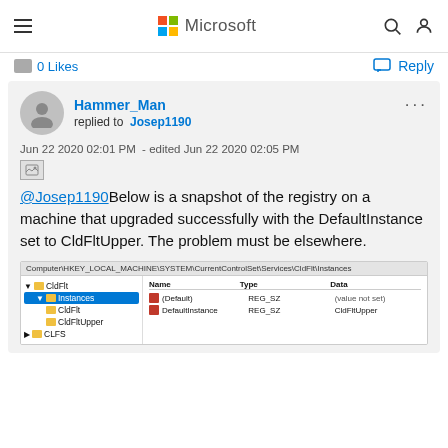Microsoft
0 Likes
Reply
Hammer_Man replied to Josep1190
Jun 22 2020 02:01 PM - edited Jun 22 2020 02:05 PM
@Josep1190Below is a snapshot of the registry on a machine that upgraded successfully with the DefaultInstance set to CldFltUpper. The problem must be elsewhere.
[Figure (screenshot): Windows Registry Editor screenshot showing Computer\HKEY_LOCAL_MACHINE\SYSTEM\CurrentControlSet\Services\CldFlt\Instances with entries: (Default) REG_SZ (value not set), DefaultInstance REG_SZ CldFltUpper]